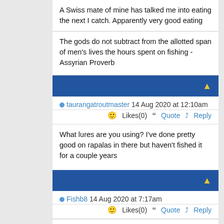A Swiss mate of mine has talked me into eating the next I catch. Apparently very good eating
The gods do not subtract from the allotted span of men's lives the hours spent on fishing - Assyrian Proverb
taurangatroutmaster 14 Aug 2020 at 12:10am  Likes(0)  Quote  Reply
What lures are you using? I've done pretty good on rapalas in there but haven't fished it for a couple years
Fishb8 14 Aug 2020 at 7:17am  Likes(0)  Quote  Reply